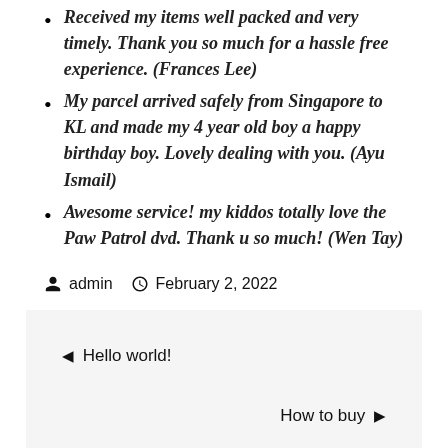Received my items well packed and very timely. Thank you so much for a hassle free experience. (Frances Lee)
My parcel arrived safely from Singapore to KL and made my 4 year old boy a happy birthday boy. Lovely dealing with you. (Ayu Ismail)
Awesome service! my kiddos totally love the Paw Patrol dvd. Thank u so much! (Wen Tay)
admin   February 2, 2022
◄ Hello world!
How to buy ►